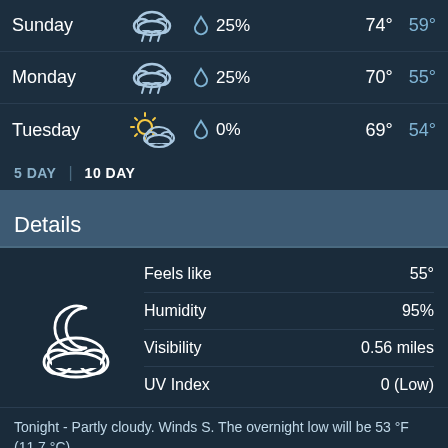| Day | Condition | Precip | High | Low |
| --- | --- | --- | --- | --- |
| Sunday | Rain/Cloud | 25% | 74° | 59° |
| Monday | Rain/Cloud | 25% | 70° | 55° |
| Tuesday | Partly Sunny | 0% | 69° | 54° |
5 DAY  |  10 DAY
Details
| Detail | Value |
| --- | --- |
| Feels like | 55° |
| Humidity | 95% |
| Visibility | 0.56 miles |
| UV Index | 0 (Low) |
Tonight - Partly cloudy. Winds S. The overnight low will be 53 °F (11.7 °C).
Today - Mostly cloudy with a high of 76 °F (24.4 °C). Winds variable.